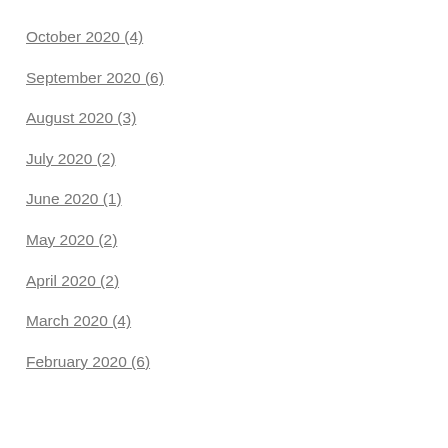October 2020 (4)
September 2020 (6)
August 2020 (3)
July 2020 (2)
June 2020 (1)
May 2020 (2)
April 2020 (2)
March 2020 (4)
February 2020 (6)